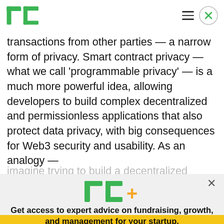TechCrunch header with logo and navigation
transactions from other parties — a narrow form of privacy. Smart contract privacy — what we call 'programmable privacy' — is a much more powerful idea, allowing developers to build complex decentralized and permissionless applications that also protect data privacy, with big consequences for Web3 security and usability. As an analogy — imagine trying to build a decentralized Facebook
[Figure (logo): TechCrunch+ logo with green TC letters and orange plus sign]
Get access to expert advice on fundraising, growth, and management for your startup.
EXPLORE NOW